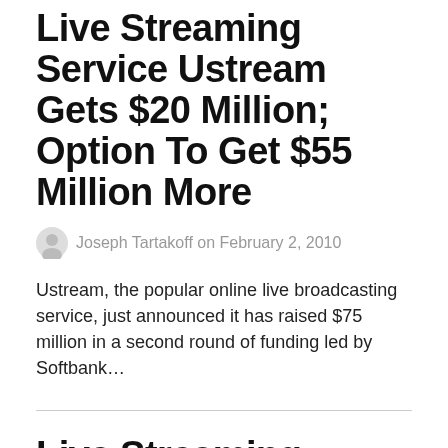Live Streaming Service Ustream Gets $20 Million; Option To Get $55 Million More
Joseph Tartakoff on February 2, 2010
Ustream, the popular online live broadcasting service, just announced it has raised $75 million in a second round of funding led by Softbank…
Live Streaming Service Ustream Gets $20 Million;